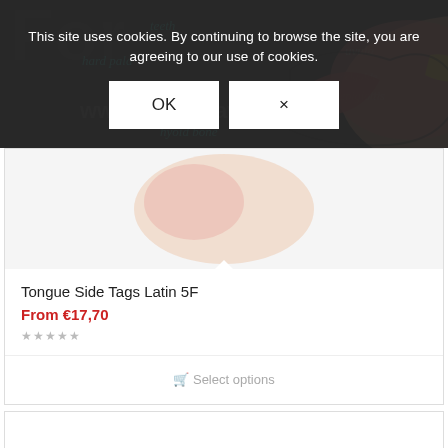[Figure (illustration): Screenshot of a website (vocaldrawings.com) showing an anatomical diagram of the mouth/throat side view with labeled parts: hard palate, uvula, tongue, teeth, epiglottis, mandible, hyoid bone. Cookie consent banner overlaid on top.]
This site uses cookies. By continuing to browse the site, you are agreeing to our use of cookies.
OK
×
Tongue Side Tags Latin 5F
From €17,70
Select options